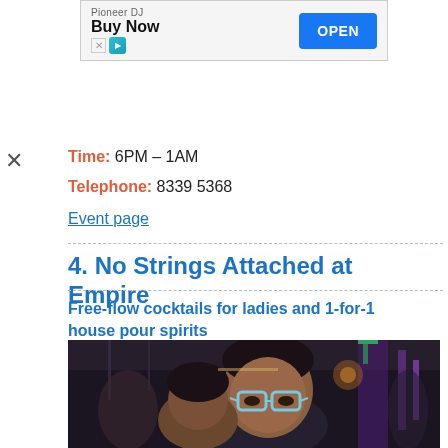[Figure (other): Pioneer DJ advertisement banner with Buy Now headline and OPEN button]
Time: 6PM – 1AM
Telephone: 8339 5368
Event page
4. No Strings Attached at Empire
Free-flow cocktails for ladies and 1-for-1 house pour spirits
[Figure (photo): Photo of people at a nightclub/bar event, showing a man with glasses in the foreground with purple neon lighting in background]